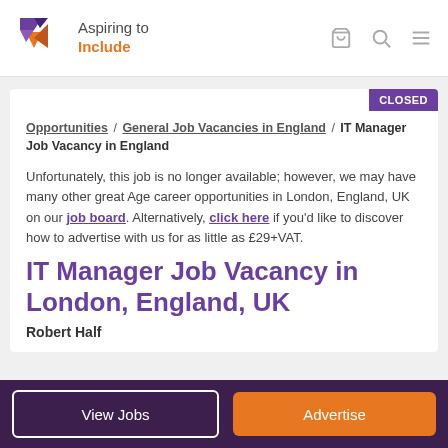[Figure (logo): Aspiring to Include logo with purple/orange angular icon and text]
CLOSED
Opportunities / General Job Vacancies in England / IT Manager Job Vacancy in England
Unfortunately, this job is no longer available; however, we may have many other great Age career opportunities in London, England, UK on our job board. Alternatively, click here if you'd like to discover how to advertise with us for as little as £29+VAT.
IT Manager Job Vacancy in London, England, UK
Robert Half
View Jobs
Advertise